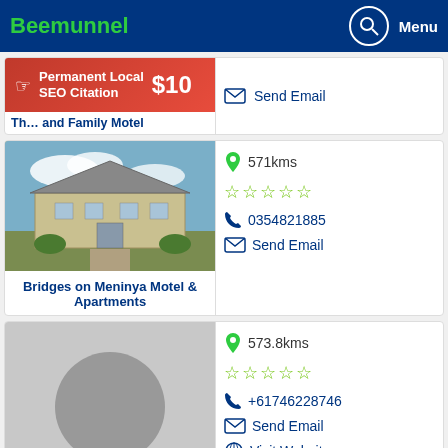Beemunnel
[Figure (infographic): Advertisement banner: Permanent Local SEO Citation $10 with hand pointer icon on red background]
and Family Motel
Send Email
[Figure (photo): Photo of Bridges on Meninya Motel & Apartments building exterior]
571kms
0354821885
Send Email
Bridges on Meninya Motel & Apartments
573.8kms
+61746228746
Send Email
Roma Central Motel
Visit Website